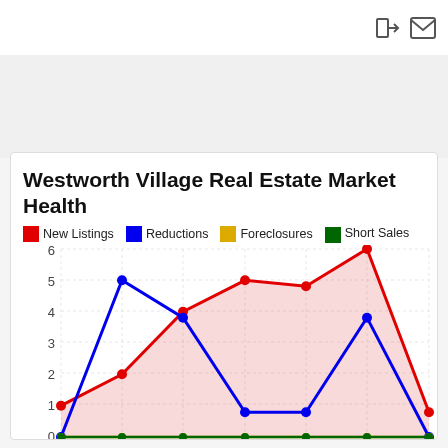[Figure (line-chart): Westworth Village Real Estate Market Health]